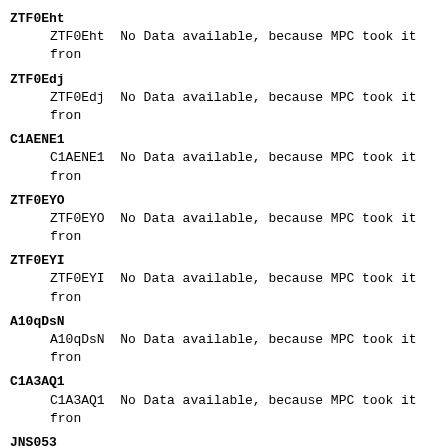ZTF0Eht
ZTF0Eht  No Data available, because MPC took it from
ZTF0Edj
ZTF0Edj  No Data available, because MPC took it from
C1AENE1
C1AENE1  No Data available, because MPC took it from
ZTF0EYO
ZTF0EYO  No Data available, because MPC took it from
ZTF0EYI
ZTF0EYI  No Data available, because MPC took it from
A10qDsN
A10qDsN  No Data available, because MPC took it from
C1A3AQ1
C1A3AQ1  No Data available, because MPC took it from
JNS053
JNS053   No Data available, because MPC took it from
ZTF0EWD
ZTF0EWD  No Data available, because MPC took it from
ZTF0EV6
ZTF0EV6  No Data available, because MPC took it from